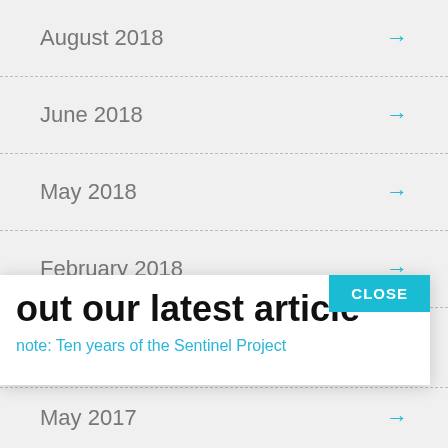August 2018
June 2018
May 2018
February 2018
October 2017
[Figure (screenshot): Popup notification overlay with CLOSE button, title 'out our latest article', and subtitle 'note: Ten years of the Sentinel Project']
May 2017